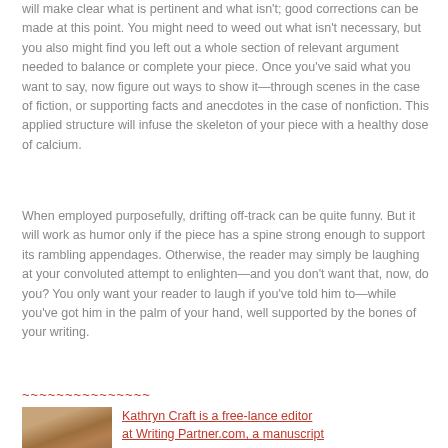will make clear what is pertinent and what isn't; good corrections can be made at this point. You might need to weed out what isn't necessary, but you also might find you left out a whole section of relevant argument needed to balance or complete your piece. Once you've said what you want to say, now figure out ways to show it—through scenes in the case of fiction, or supporting facts and anecdotes in the case of nonfiction. This applied structure will infuse the skeleton of your piece with a healthy dose of calcium.
When employed purposefully, drifting off-track can be quite funny. But it will work as humor only if the piece has a spine strong enough to support its rambling appendages. Otherwise, the reader may simply be laughing at your convoluted attempt to enlighten—and you don't want that, now, do you? You only want your reader to laugh if you've told him to—while you've got him in the palm of your hand, well supported by the bones of your writing.
~~~~~~~~~~~~~~~
[Figure (photo): Author photo of Kathryn Craft, partial view showing top of head and face]
Kathryn Craft is a free-lance editor at Writing Partner.com, a manuscript